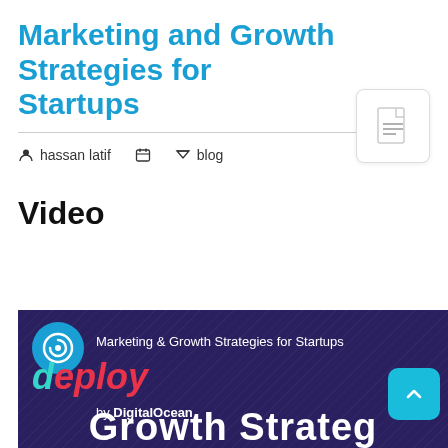Marketing and Growth Strategies for Startups
hassan latif   blog
Video
[Figure (screenshot): Video thumbnail showing 'Marketing & Growth Strategies for Startups' with the Deploy by DigitalOcean logo on a dark purple background with diagonal line pattern, and 'Growth Strate...' text partially visible at the bottom. A cyan scroll-to-top button is visible in the lower right.]